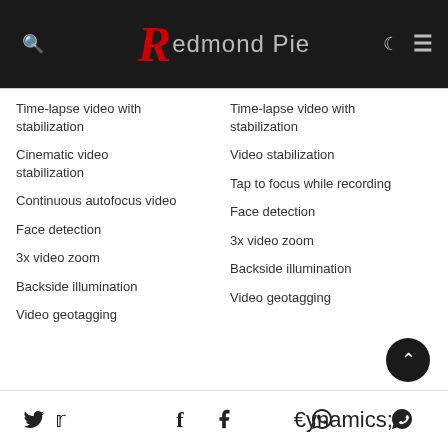Redmond Pie
Time-lapse video with stabilization
Time-lapse video with stabilization
Cinematic video stabilization
Video stabilization
Continuous autofocus video
Tap to focus while recording
Face detection
Face detection
3x video zoom
3x video zoom
Backside illumination
Backside illumination
Video geotagging
Video geotagging
Twitter | Facebook | WhatsApp